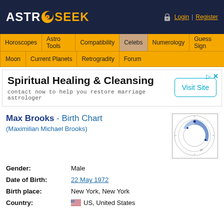ASTRO SEEK - Login | Register
Horoscopes | Astro Tools | Compatibility | Celebs | Numerology | Guess Sign | Moon | Current Planets | Retrogradity | Forum
[Figure (screenshot): Advertisement banner for Spiritual Healing & Cleansing with Visit Site button]
Max Brooks - Birth Chart (Maximilian Michael Brooks)
[Figure (other): Astrological birth chart wheel thumbnail for Max Brooks]
| Field | Value |
| --- | --- |
| Gender: | Male |
| Date of Birth: | 22 May 1972 |
| Birth place: | New York, New York |
| Country: | US, United States |